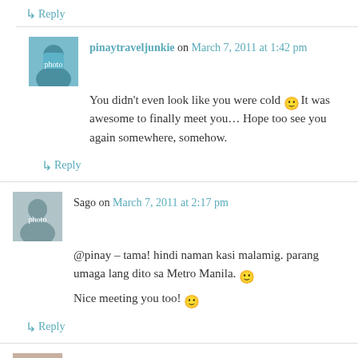Reply
pinaytraveljunkie on March 7, 2011 at 1:42 pm
You didn't even look like you were cold 🙂 It was awesome to finally meet you… Hope too see you again somewhere, somehow.
Reply
Sago on March 7, 2011 at 2:17 pm
@pinay – tama! hindi naman kasi malamig. parang umaga lang dito sa Metro Manila. 🙂
Nice meeting you too! 🙂
Reply
thepinaysolobackpacker on March 8, 2011 at 3:12 pm
sabe ko na nga ba invited ka din sa Eurotel! 🙂 sayang I missed it me pasok. thnx for sharing your packing tips,